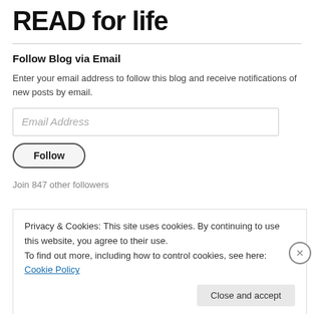READ for life
Follow Blog via Email
Enter your email address to follow this blog and receive notifications of new posts by email.
Join 847 other followers
Privacy & Cookies: This site uses cookies. By continuing to use this website, you agree to their use.
To find out more, including how to control cookies, see here: Cookie Policy